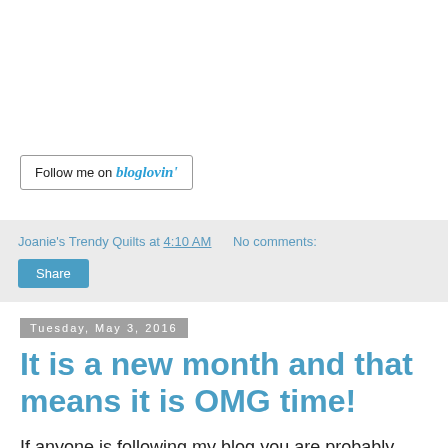[Figure (other): Follow me on Bloglovin' button widget]
Joanie's Trendy Quilts at 4:10 AM   No comments:
Share
Tuesday, May 3, 2016
It is a new month and that means it is OMG time!
If anyone is following my blog you are probably wondering why all my recent projects are winter or Christmas themes. Well it is because I want these projects for Christmas decorations, and if I wait until